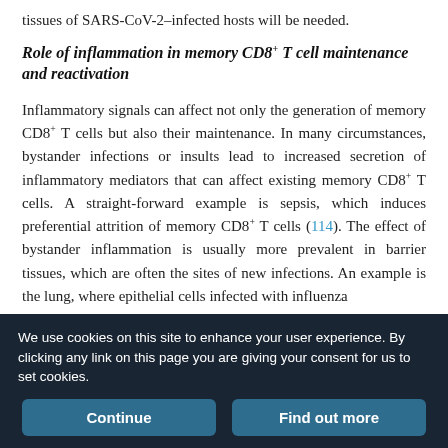tissues of SARS-CoV-2–infected hosts will be needed.
Role of inflammation in memory CD8+ T cell maintenance and reactivation
Inflammatory signals can affect not only the generation of memory CD8+ T cells but also their maintenance. In many circumstances, bystander infections or insults lead to increased secretion of inflammatory mediators that can affect existing memory CD8+ T cells. A straight-forward example is sepsis, which induces preferential attrition of memory CD8+ T cells (114). The effect of bystander inflammation is usually more prevalent in barrier tissues, which are often the sites of new infections. An example is the lung, where epithelial cells infected with influenza
We use cookies on this site to enhance your user experience. By clicking any link on this page you are giving your consent for us to set cookies.